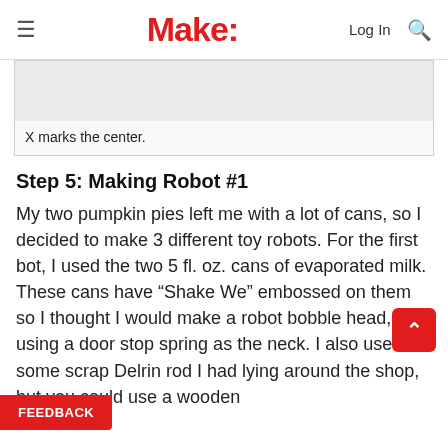Make:
X marks the center.
Step 5: Making Robot #1
My two pumpkin pies left me with a lot of cans, so I decided to make 3 different toy robots. For the first bot, I used the two 5 fl. oz. cans of evaporated milk. These cans have “Shake We” embossed on them so I thought I would make a robot bobble head, using a door stop spring as the neck. I also used some scrap Delrin rod I had lying around the shop, but you could use a wooden